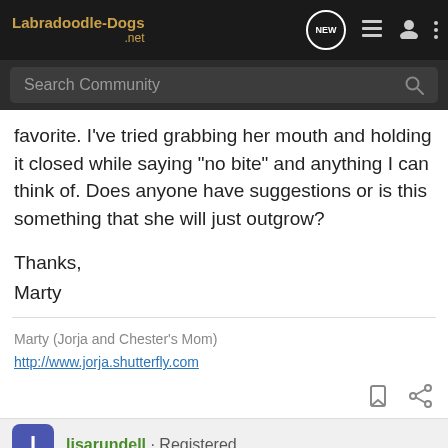Labradoodle-Dogs.net — navigation bar with logo, NEW icon, list icon, user icon, menu icon
Search Community
favorite. I've tried grabbing her mouth and holding it closed while saying "no bite" and anything I can think of. Does anyone have suggestions or is this something that she will just outgrow?
Thanks,
Marty
Marty (Jorja and Chester's Mom)
http://www.jorja.shutterfly.com
lisarundell · Registered